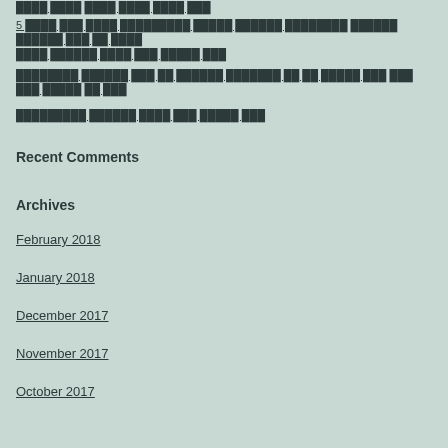5 ████ ███ ████ █████████ █████ ██████ ████████ ██████ ██████ ███ ██ ████ ████ ██████ ████ ███ █████ ███
████████ ██████ ███ ██ ██████ ███████ ██ ██ █████ ███ ███ ███ █████ ██ ███
█████████ ██████ ████ ███ █████ ███
Recent Comments
Archives
February 2018
January 2018
December 2017
November 2017
October 2017